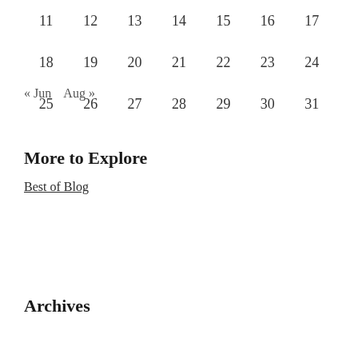| 11 | 12 | 13 | 14 | 15 | 16 | 17 |
| --- | --- | --- | --- | --- | --- | --- |
| 18 | 19 | 20 | 21 | 22 | 23 | 24 |
| 25 | 26 | 27 | 28 | 29 | 30 | 31 |
« Jun   Aug »
More to Explore
Best of Blog
Archives